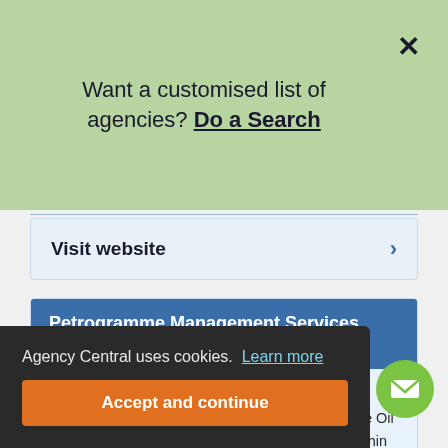Want a customised list of agencies? Do a Search
Visit website
Petrogramme Management Services (UK)
Petrogramme Management Services (UK) is an independently-owned firm that supplies staff to the Oil and Gas industry. They send candidate details within 30 minutes for clients that require an immediate start, while for positions that start in one week, they send details within 24 hours. Petrogramme also offers payroll services and supplies personnel for temporary, fixed term, ongoing, temporary to
32 1PJ
Agency Central uses cookies. Learn more
Accept and continue